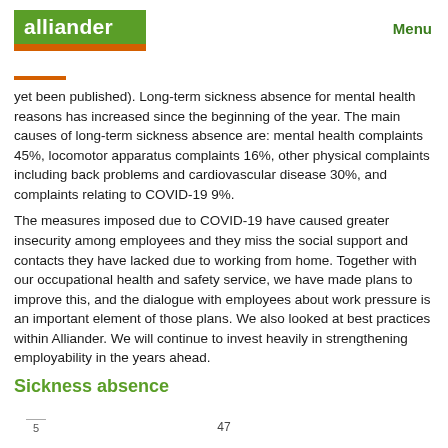alliander | Menu
yet been published). Long-term sickness absence for mental health reasons has increased since the beginning of the year. The main causes of long-term sickness absence are: mental health complaints 45%, locomotor apparatus complaints 16%, other physical complaints including back problems and cardiovascular disease 30%, and complaints relating to COVID-19 9%.
The measures imposed due to COVID-19 have caused greater insecurity among employees and they miss the social support and contacts they have lacked due to working from home. Together with our occupational health and safety service, we have made plans to improve this, and the dialogue with employees about work pressure is an important element of those plans. We also looked at best practices within Alliander. We will continue to invest heavily in strengthening employability in the years ahead.
Sickness absence
5  47